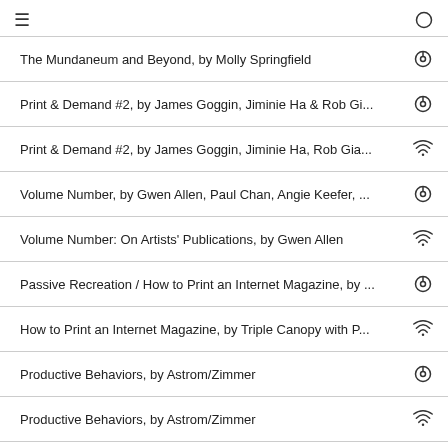≡ ○
The Mundaneum and Beyond, by Molly Springfield
Print & Demand #2, by James Goggin, Jiminie Ha & Rob Gi...
Print & Demand #2, by James Goggin, Jiminie Ha, Rob Gia...
Volume Number, by Gwen Allen, Paul Chan, Angie Keefer, ...
Volume Number: On Artists' Publications, by Gwen Allen
Passive Recreation / How to Print an Internet Magazine, by ...
How to Print an Internet Magazine, by Triple Canopy with P...
Productive Behaviors, by Astrom/Zimmer
Productive Behaviors, by Astrom/Zimmer
E-books and the Museum Machine, by Sarah Hromack